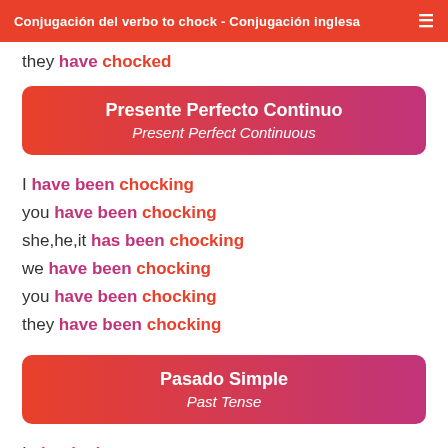Conjugación del verbo to chock - Conjugación inglesa
they have chocked
Presente Perfecto Continuo / Present Perfect Continuous
I have been chocking
you have been chocking
she,he,it has been chocking
we have been chocking
you have been chocking
they have been chocking
Pasado Simple / Past Tense
I chocked
you chocked
she,he,it chocked